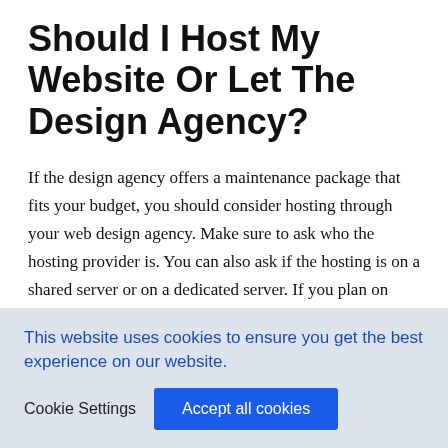Should I Host My Website Or Let The Design Agency?
If the design agency offers a maintenance package that fits your budget, you should consider hosting through your web design agency. Make sure to ask who the hosting provider is. You can also ask if the hosting is on a shared server or on a dedicated server. If you plan on maintaining your own website, you can host it yourself. Any time spent managing your own website is time that could be used to grow your business.
This website uses cookies to ensure you get the best experience on our website.
Cookie Settings | Accept all cookies